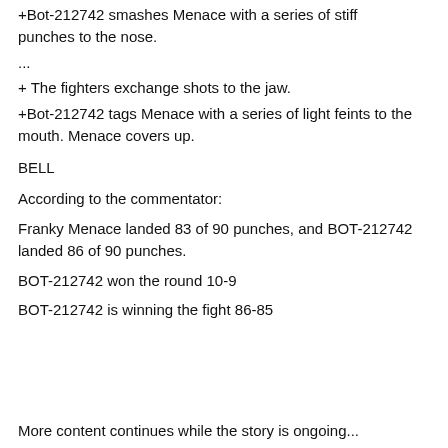+Bot-212742 smashes Menace with a series of stiff punches to the nose.
...
+ The fighters exchange shots to the jaw.
+Bot-212742 tags Menace with a series of light feints to the mouth. Menace covers up.
BELL
According to the commentator:
Franky Menace landed 83 of 90 punches, and BOT-212742 landed 86 of 90 punches.
BOT-212742 won the round 10-9
BOT-212742 is winning the fight 86-85
More content continues while the story is ongoing...